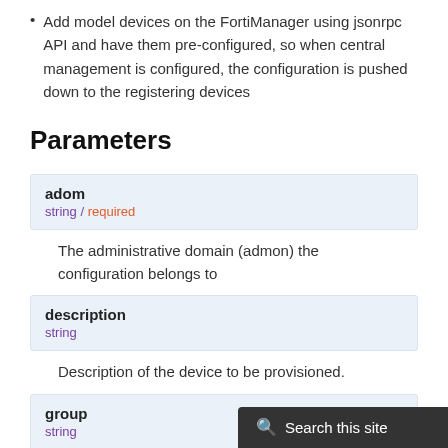Add model devices on the FortiManager using jsonrpc API and have them pre-configured, so when central management is configured, the configuration is pushed down to the registering devices
Parameters
| Parameter | Type | Required | Description |
| --- | --- | --- | --- |
| adom | string | required | The administrative domain (admon) the configuration belongs to |
| description | string |  | Description of the device to be provisioned. |
| group | string |  | The name of the device group the device can belong to |